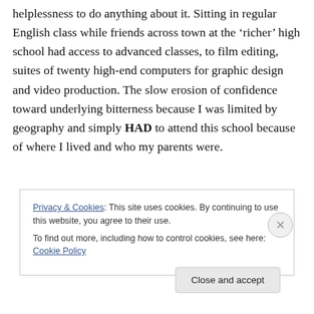helplessness to do anything about it. Sitting in regular English class while friends across town at the ‘richer’ high school had access to advanced classes, to film editing, suites of twenty high-end computers for graphic design and video production. The slow erosion of confidence toward underlying bitterness because I was limited by geography and simply HAD to attend this school because of where I lived and who my parents were.
Privacy & Cookies: This site uses cookies. By continuing to use this website, you agree to their use.
To find out more, including how to control cookies, see here: Cookie Policy